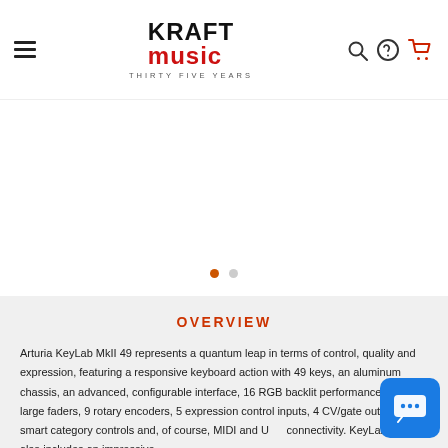Kraft Music – Thirty Five Years
[Figure (screenshot): Carousel image area with two navigation dots, first dot active (orange), second dot inactive (grey)]
OVERVIEW
Arturia KeyLab MkII 49 represents a quantum leap in terms of control, quality and expression, featuring a responsive keyboard action with 49 keys, an aluminum chassis, an advanced, configurable interface, 16 RGB backlit performance pads, 9 large faders, 9 rotary encoders, 5 expression control inputs, 4 CV/gate outputs, smart category controls and, of course, MIDI and USB connectivity. KeyLab MkII 49 also includes an impressive software bundle: Arturia Piano V, a virtual instrument, Arturia